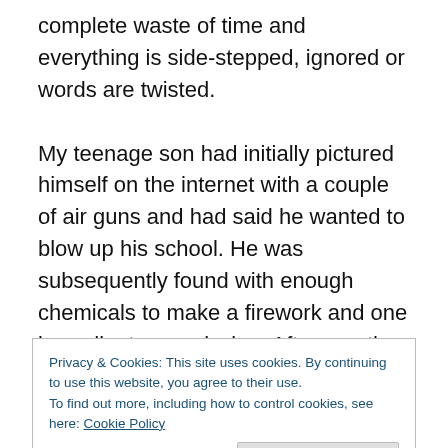complete waste of time and everything is side-stepped, ignored or words are twisted.
My teenage son had initially pictured himself on the internet with a couple of air guns and had said he wanted to blow up his school. He was subsequently found with enough chemicals to make a firework and one ingredient was missing. After months of examination of his computer, he had some distasteful porn, publications such as the 'Anarchists Cookbook' and his personal diaries contained lists of people he said he wanted to kill. In my opinion,
Privacy & Cookies: This site uses cookies. By continuing to use this website, you agree to their use.
To find out more, including how to control cookies, see here: Cookie Policy
got a six month hospital order in early 2013. By mid-2015